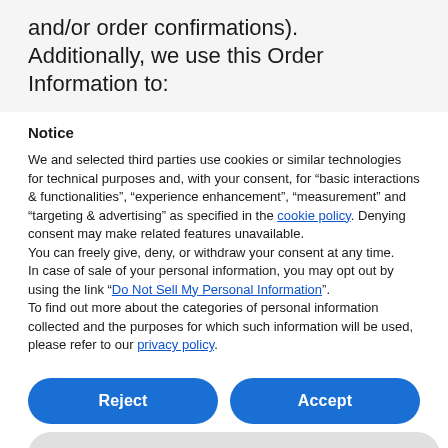and/or order confirmations). Additionally, we use this Order Information to:
Notice
We and selected third parties use cookies or similar technologies for technical purposes and, with your consent, for “basic interactions & functionalities”, “experience enhancement”, “measurement” and “targeting & advertising” as specified in the cookie policy. Denying consent may make related features unavailable.
You can freely give, deny, or withdraw your consent at any time.
In case of sale of your personal information, you may opt out by using the link “Do Not Sell My Personal Information”.
To find out more about the categories of personal information collected and the purposes for which such information will be used, please refer to our privacy policy.
Reject
Accept
Settings / Imprint